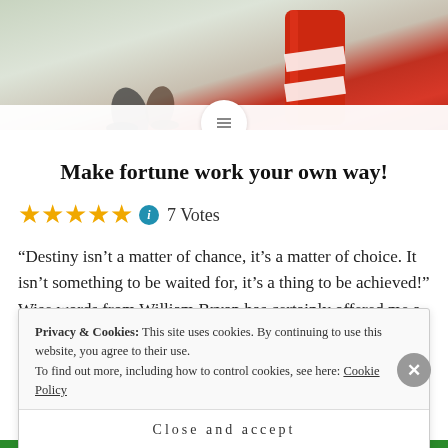[Figure (photo): Blurred photo of a person walking near a red bollard or pole, with light background, partial view showing legs and red object.]
Make fortune work your own way!
7 Votes (with 5 star rating)
“Destiny isn’t a matter of chance, it’s a matter of choice. It isn’t something to be waited for, it’s a thing to be achieved!” Wise words from William Bryan has certainly offered me a way to profound insight that I can write on. We all have
Privacy & Cookies: This site uses cookies. By continuing to use this website, you agree to their use. To find out more, including how to control cookies, see here: Cookie Policy
Close and accept